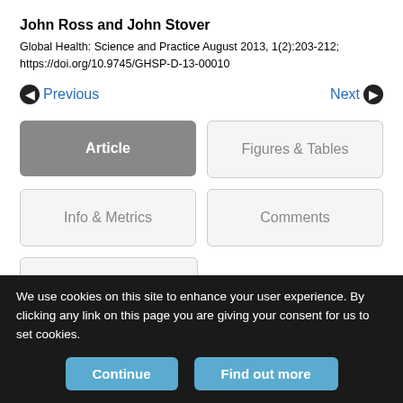John Ross and John Stover
Global Health: Science and Practice August 2013, 1(2):203-212; https://doi.org/10.9745/GHSP-D-13-00010
Previous | Next
[Figure (screenshot): Navigation buttons: Article (active), Figures & Tables, Info & Metrics, Comments, PDF]
We use cookies on this site to enhance your user experience. By clicking any link on this page you are giving your consent for us to set cookies.
Continue | Find out more